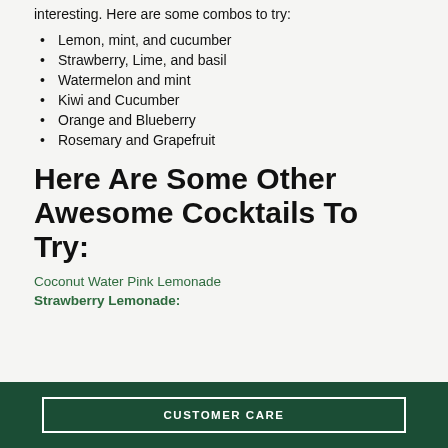interesting. Here are some combos to try:
Lemon, mint, and cucumber
Strawberry, Lime, and basil
Watermelon and mint
Kiwi and Cucumber
Orange and Blueberry
Rosemary and Grapefruit
Here Are Some Other Awesome Cocktails To Try:
Coconut Water Pink Lemonade
Strawberry Lemonade:
CUSTOMER CARE